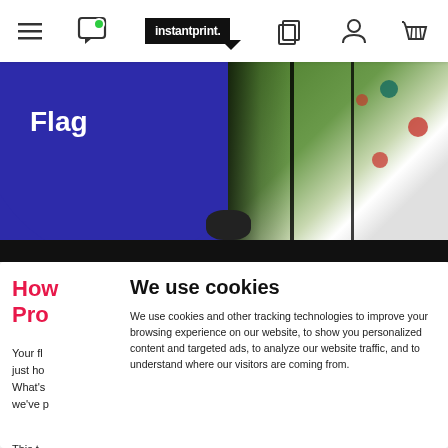instantprint. navigation bar with menu, chat, logo, copy, account, basket icons
[Figure (photo): Hero banner showing flag banners printed by instantprint, with blue background, red oval shape, and outdoor photo of white feather flags on grass. Black bar at bottom. 'Flag' text in white bold on blue section.]
How to use Promotional...
Your fl... just ho... What's... we've p... This t...
We use cookies
We use cookies and other tracking technologies to improve your browsing experience on our website, to show you personalized content and targeted ads, to analyze our website traffic, and to understand where our visitors are coming from.